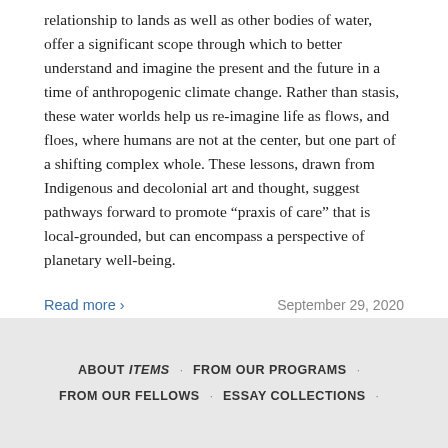relationship to lands as well as other bodies of water, offer a significant scope through which to better understand and imagine the present and the future in a time of anthropogenic climate change. Rather than stasis, these water worlds help us re-imagine life as flows, and floes, where humans are not at the center, but one part of a shifting complex whole. These lessons, drawn from Indigenous and decolonial art and thought, suggest pathways forward to promote “praxis of care” that is local-grounded, but can encompass a perspective of planetary well-being.
Read more >
September 29, 2020
ABOUT ITEMS · FROM OUR PROGRAMS · FROM OUR FELLOWS · ESSAY COLLECTIONS ·